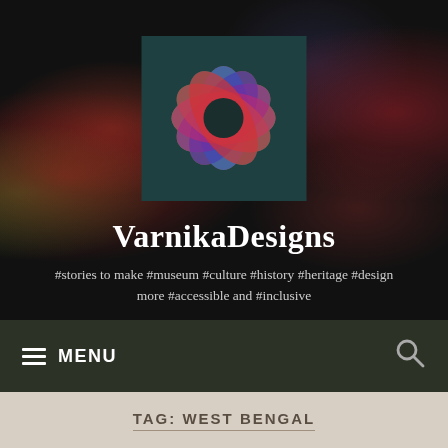[Figure (logo): VarnikaDesigns logo: colorful pinwheel/lotus flower made of overlapping colored petals (red, orange, yellow, green, cyan, blue, purple) with a dark center circle, on a dark teal background]
VarnikaDesigns
#stories to make #museum #culture #history #heritage #design more #accessible and #inclusive
MENU
TAG: WEST BENGAL